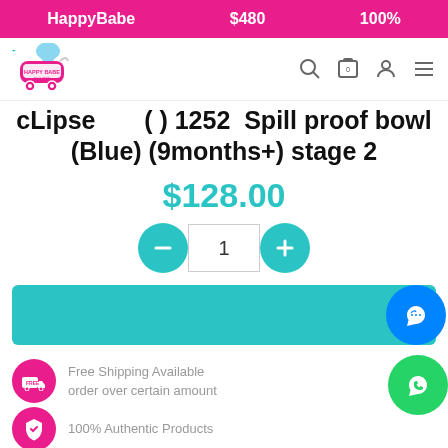HappyBabe   $480   100%
[Figure (logo): Happy Babe baby store logo with stroller icon]
cLipse (?) 1252 Spill proof bowl (Blue) (9months+) stage 2
$128.00
Quantity selector: minus, 1, plus
Free Shipping Available order over certain amount
100% Authentic Products